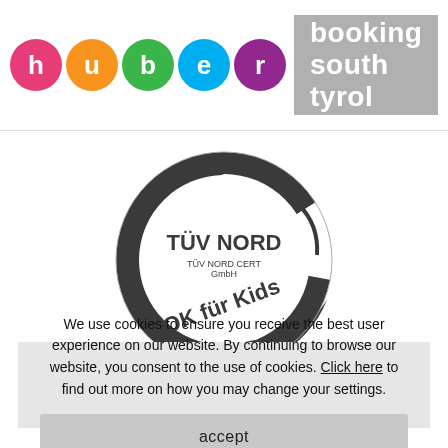[Figure (logo): Huber Booking South Tyrol logo — colorful circles spelling 'huber' with a grey rectangle showing 'booking south tyrol' in white text]
[Figure (logo): TÜV NORD certification seal — circular stamp with 'TÜV NORD CERT GmbH' and 'OK für Kids' text]
We use cookies to ensure you receive the best user experience on our website. By continuing to browse our website, you consent to the use of cookies. Click here to find out more on how you may change your settings.
accept